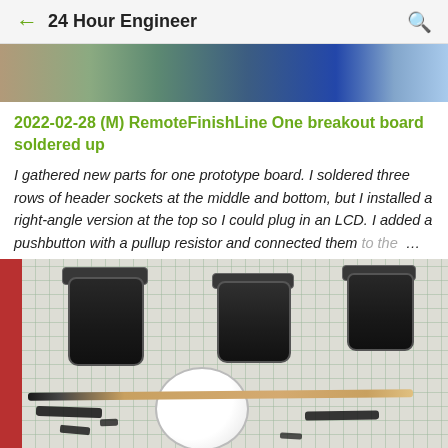24 Hour Engineer
[Figure (photo): Partial photo showing electronic components/Arduino board at top of page]
2022-02-28 (M) RemoteFinishLine One breakout board soldered up
I gathered new parts for one prototype board. I soldered three rows of header sockets at the middle and bottom, but I installed a right-angle version at the top so I could plug in an LCD. I added a pushbutton with a pullup resistor and connected them to the ...
[Figure (photo): Photo of three small dark jars and one white round container on a grid cutting mat, with a paintbrush/wooden stick and black smear marks visible]